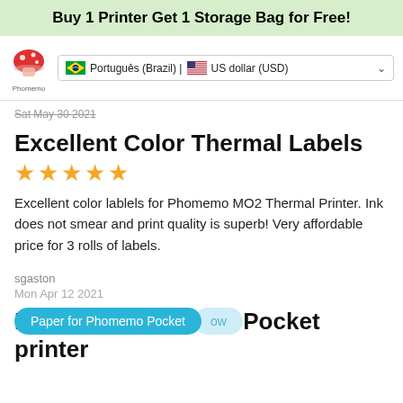Buy 1 Printer Get 1 Storage Bag for Free!
[Figure (logo): Phomemo mushroom logo with brand name below]
Português (Brazil) | US dollar (USD)
Sat May 30 2021
Excellent Color Thermal Labels
★★★★★ (5 stars)
Excellent color lablels for Phomemo MO2 Thermal Printer. Ink does not smear and print quality is superb! Very affordable price for 3 rolls of labels.
sgaston
Mon Apr 12 2021
Paper for Phomemo Pocket printer
★★★★☆ (4 stars)